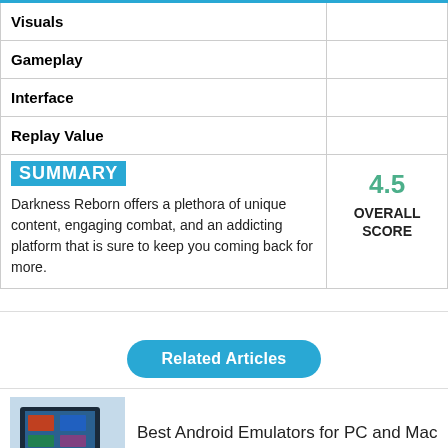|  |  |
| --- | --- |
| Visuals |  |
| Gameplay |  |
| Interface |  |
| Replay Value |  |
| SUMMARY
Darkness Reborn offers a plethora of unique content, engaging combat, and an addicting platform that is sure to keep you coming back for more. | 4.5
OVERALL SCORE |
Related Articles
Best Android Emulators for PC and Mac